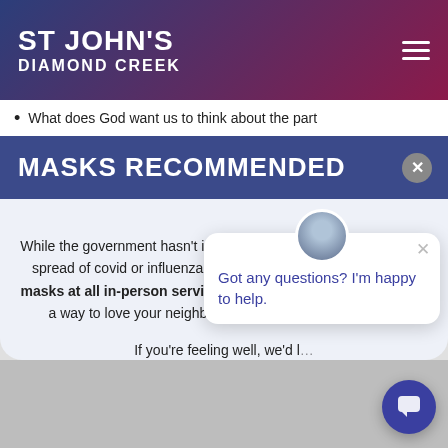ST JOHN'S DIAMOND CREEK
What does God want us to think about the part
MASKS RECOMMENDED
While the government hasn't introduced any mandates to stop the spread of covid or influenza, we're encouraging you to wear masks at all in-person services. This won't be mandatory, but is a way to love your neighbour, as well as protect yourself.
If you're feeling well, we'd l… (8am, 10am, or 6pm), but if… service is a great op…
Got any questions? I'm happy to help.